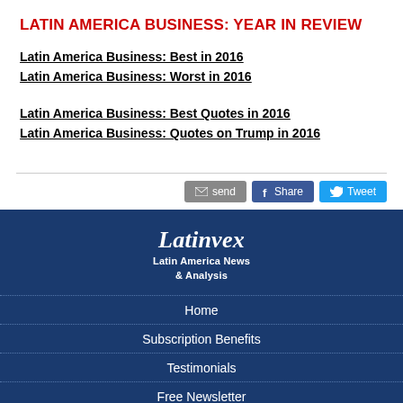LATIN AMERICA BUSINESS: YEAR IN REVIEW
Latin America Business: Best in 2016
Latin America Business: Worst in 2016
Latin America Business: Best Quotes in 2016
Latin America Business: Quotes on Trump in 2016
[Figure (other): Social sharing buttons: send (email), Share (Facebook), Tweet (Twitter)]
[Figure (logo): Latinvex logo with tagline: Latin America News & Analysis]
Home
Subscription Benefits
Testimonials
Free Newsletter